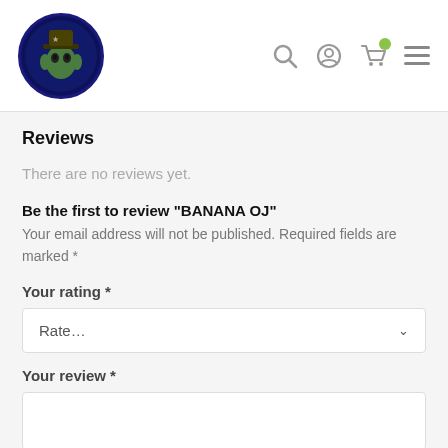[Figure (logo): Circular logo with dark blue background showing a stylized character (Yoda-like figure with hat), site header logo]
[Figure (infographic): Header navigation icons: search magnifier, user/account icon, shopping cart icon with green badge, hamburger menu icon]
Reviews
There are no reviews yet.
Be the first to review “BANANA OJ”
Your email address will not be published. Required fields are marked *
Your rating *
Rate...
Your review *